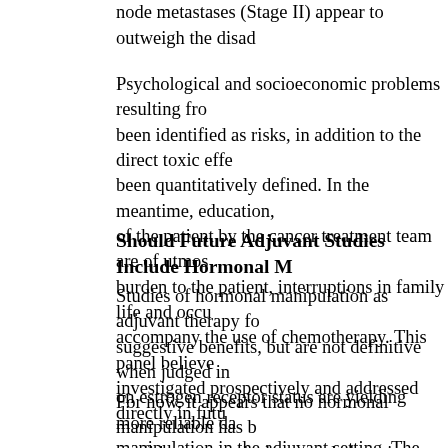node metastases (Stage II) appear to outweigh the disad
Psychological and socioeconomic problems resulting from been identified as risks, in addition to the direct toxic effe been quantitatively defined. In the meantime, education, of the patient by the cancer treatment team are of utmost burden to the patient, interruptions in family life and occu accompany the use of chemotherapy. This panel believes investigated prospectively and addressed directly in futu
Should Future Adjuvant Studies Include Hormonal M
Studies of hormonal manipulation as adjuvant therapy fo suggestive benefits, but are not definitive when judged in on estrogen receptor status are yielding more reliable da manipulation in the adjuvant setting. The problems that e current data include determination of the relative roles of treatments, significance of the hormonal effects of the ch reliability of the receptor assays in individual patients.
For now, it appears that no hormonal manipulation has b confidence to make hormonal alterations--either alone or form of adjuvant therapy. Recent data regarding potentia patients demonstrating significant estrogen receptor activ